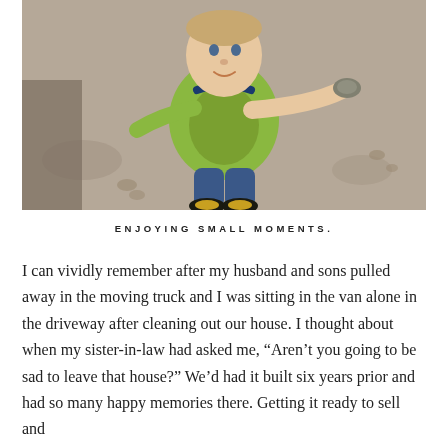[Figure (photo): A toddler in a green t-shirt and jeans with sandals, photographed from above, holding out a small rock or stone toward the camera. The child is standing on a sandy or dusty surface and smiling upward.]
ENJOYING SMALL MOMENTS.
I can vividly remember after my husband and sons pulled away in the moving truck and I was sitting in the van alone in the driveway after cleaning out our house. I thought about when my sister-in-law had asked me, “Aren’t you going to be sad to leave that house?” We’d had it built six years prior and had so many happy memories there. Getting it ready to sell and